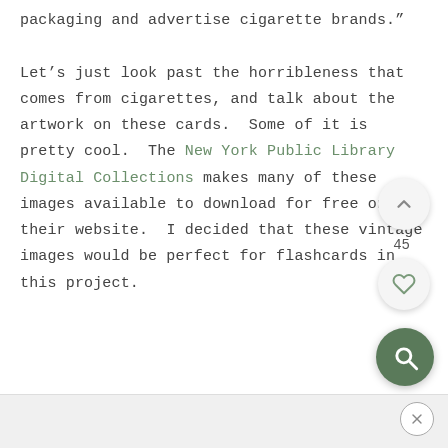packaging and advertise cigarette brands."

Let’s just look past the horribleness that comes from cigarettes, and talk about the artwork on these cards.  Some of it is pretty cool.  The New York Public Library Digital Collections makes many of these images available to download for free on their website.  I decided that these vintage images would be perfect for flashcards in this project.